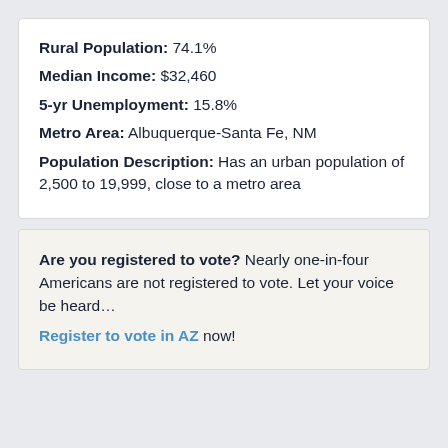Rural Population: 74.1% Median Income: $32,460 5-yr Unemployment: 15.8% Metro Area: Albuquerque-Santa Fe, NM Population Description: Has an urban population of 2,500 to 19,999, close to a metro area
Are you registered to vote? Nearly one-in-four Americans are not registered to vote. Let your voice be heard... Register to vote in AZ now!